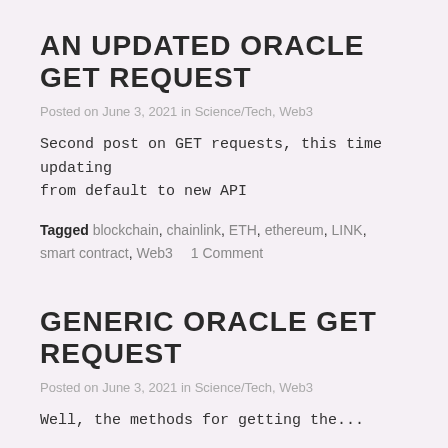AN UPDATED ORACLE GET REQUEST
Posted on June 3, 2021 in Science/Tech, Web3
Second post on GET requests, this time updating from default to new API
Tagged blockchain, chainlink, ETH, ethereum, LINK, smart contract, Web3     1 Comment
GENERIC ORACLE GET REQUEST
Posted on June 3, 2021 in Science/Tech, Web3
Well, the methods for getting the...